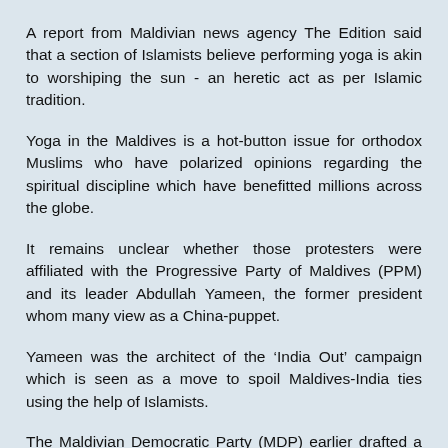A report from Maldivian news agency The Edition said that a section of Islamists believe performing yoga is akin to worshiping the sun - an heretic act as per Islamic tradition.
Yoga in the Maldives is a hot-button issue for orthodox Muslims who have polarized opinions regarding the spiritual discipline which have benefitted millions across the globe.
It remains unclear whether those protesters were affiliated with the Progressive Party of Maldives (PPM) and its leader Abdullah Yameen, the former president whom many view as a China-puppet.
Yameen was the architect of the ‘India Out’ campaign which is seen as a move to spoil Maldives-India ties using the help of Islamists.
The Maldivian Democratic Party (MDP) earlier drafted a legislation to criminalize anti-India protests as anti-national while concluding that India always jumped to help Maldives whenever the island-nation faced crisis and is also crucial to its food security.